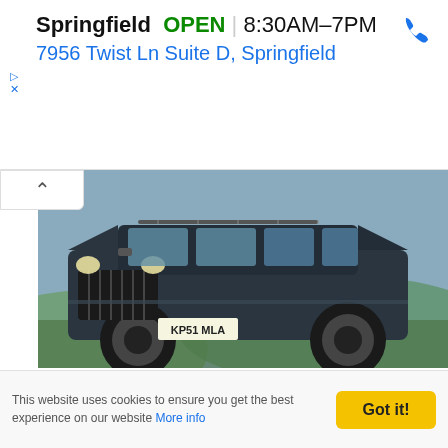Springfield  OPEN  8:30AM–7PM
7956 Twist Ln Suite D, Springfield
[Figure (photo): A dark blue Jeep Grand Cherokee 2001 SUV photographed outdoors on a hillside with green hills in the background. UK license plate KP51 MLA visible.]
Jeep Grand Cherokee 2001
[Figure (photo): A dark olive/brown Jeep Wrangler photographed outdoors in a field. The vehicle is viewed from a front three-quarter angle showing the classic Jeep grille and round headlights.]
This website uses cookies to ensure you get the best experience on our website More info